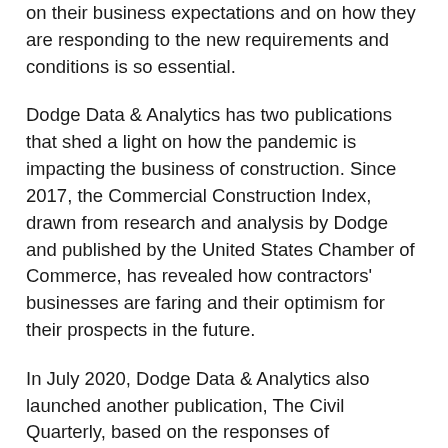on their business expectations and on how they are responding to the new requirements and conditions is so essential.
Dodge Data & Analytics has two publications that shed a light on how the pandemic is impacting the business of construction. Since 2017, the Commercial Construction Index, drawn from research and analysis by Dodge and published by the United States Chamber of Commerce, has revealed how contractors' businesses are faring and their optimism for their prospects in the future.
In July 2020, Dodge Data & Analytics also launched another publication, The Civil Quarterly, based on the responses of contractors who engage in heavy civil construction, and it looks at similar business factors.
The most recent editions of both of these publications have supplemented the overall business conditions examinations that each explores—including backlog, revenue and profit margin expectations, workforce issues and supply chain issues—with